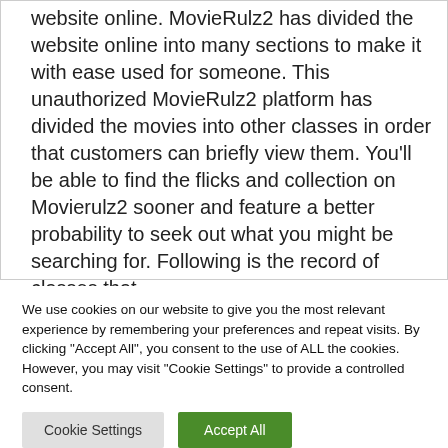website online. MovieRulz2 has divided the website online into many sections to make it with ease used for someone. This unauthorized MovieRulz2 platform has divided the movies into other classes in order that customers can briefly view them. You'll be able to find the flicks and collection on Movierulz2 sooner and feature a better probability to seek out what you might be searching for. Following is the record of classes that
We use cookies on our website to give you the most relevant experience by remembering your preferences and repeat visits. By clicking "Accept All", you consent to the use of ALL the cookies. However, you may visit "Cookie Settings" to provide a controlled consent.